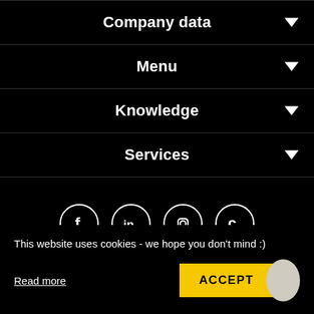Company data
Menu
Knowledge
Services
[Figure (infographic): Social media icons row: Facebook, LinkedIn, Instagram, and Clutch circular icons with white borders on black background]
This website uses cookies - we hope you don't mind :)
Read more
ACCEPT